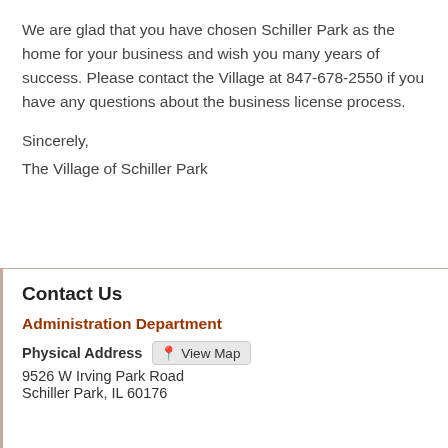We are glad that you have chosen Schiller Park as the home for your business and wish you many years of success. Please contact the Village at 847-678-2550 if you have any questions about the business license process.
Sincerely,
The Village of Schiller Park
Contact Us
Administration Department
Physical Address   View Map
9526 W Irving Park Road
Schiller Park, IL 60176